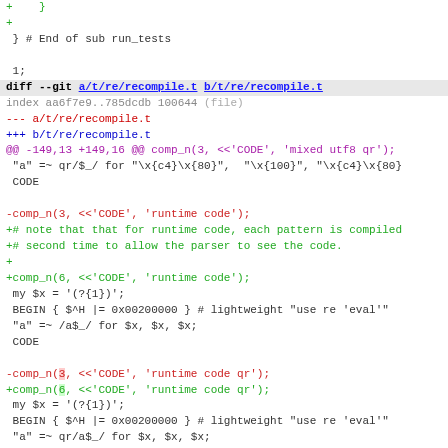diff --git a/t/re/recompile.t b/t/re/recompile.t
index aa6f7e9..785dcdb 100644 (file)
--- a/t/re/recompile.t
+++ b/t/re/recompile.t
@@ -149,13 +149,16 @@ comp_n(3, <<'CODE', 'mixed utf8 qr');
 "a" =~ qr/$_/ for "\x{c4}\x{80}",  "\x{100}", "\x{c4}\x{80
 CODE

-comp_n(3, <<'CODE', 'runtime code');
+# note that that for runtime code, each pattern is compiled
+# second time to allow the parser to see the code.
+
+comp_n(6, <<'CODE', 'runtime code');
  my $x = '(?{1})';
  BEGIN { $^H |= 0x00200000 } # lightweight "use re 'eval'"
  "a" =~ /a$_/ for $x, $x, $x;
 CODE

-comp_n(3, <<'CODE', 'runtime code qr');
+comp_n(6, <<'CODE', 'runtime code qr');
  my $x = '(?{1})';
  BEGIN { $^H |= 0x00200000 } # lightweight "use re 'eval'"
  "a" =~ qr/a$_/ for $x, $x, $x;
@@ -171,14 +174,14 @@ my $x = qr/(?{1})/;
  "a" =~ qr/a$_/ for $x, $x, $x;
 CODE